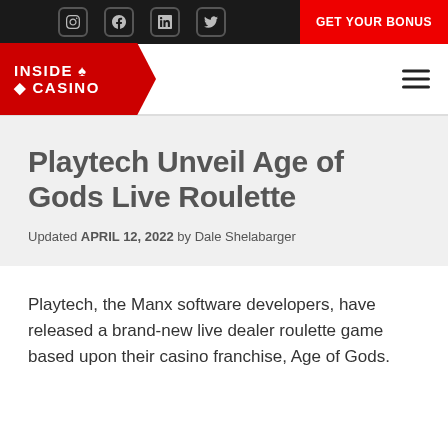GET YOUR BONUS
[Figure (logo): Inside Casino logo with red background and spade/diamond symbols]
Playtech Unveil Age of Gods Live Roulette
Updated APRIL 12, 2022 by Dale Shelabarger
Playtech, the Manx software developers, have released a brand-new live dealer roulette game based upon their casino franchise, Age of Gods.